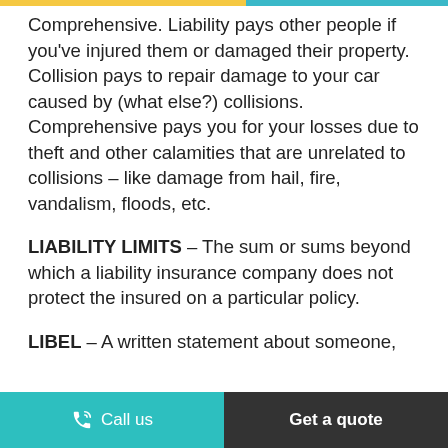Comprehensive. Liability pays other people if you've injured them or damaged their property. Collision pays to repair damage to your car caused by (what else?) collisions. Comprehensive pays you for your losses due to theft and other calamities that are unrelated to collisions – like damage from hail, fire, vandalism, floods, etc.
LIABILITY LIMITS – The sum or sums beyond which a liability insurance company does not protect the insured on a particular policy.
LIBEL – A written statement about someone,
Call us  |  Get a quote